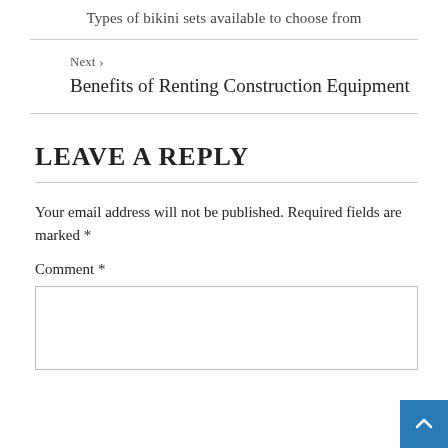Types of bikini sets available to choose from
Next › Benefits of Renting Construction Equipment
LEAVE A REPLY
Your email address will not be published. Required fields are marked *
Comment *